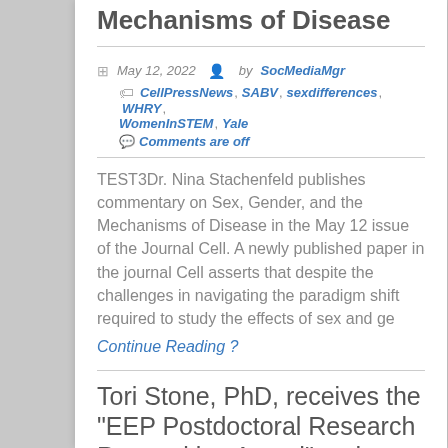Mechanisms of Disease
May 12, 2022  by SocMediaMgr
CellPressNews, SABV, sexdifferences, WHRY, WomenInSTEM, Yale
Comments are off
TEST3Dr. Nina Stachenfeld publishes commentary on Sex, Gender, and the Mechanisms of Disease in the May 12 issue of the Journal Cell. A newly published paper in the journal Cell asserts that despite the challenges in navigating the paradigm shift required to study the effects of sex and ge
Continue Reading ?
Tori Stone, PhD, receives the “EEP Postdoctoral Research Recognition Award” at the 2021